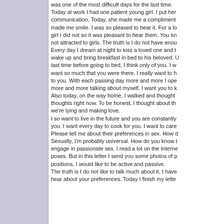was one of the most difficult days for the last time. Today at work I had one patient young girl. I put her communication. Today, she made me a compliment made me smile. I was so pleased to hear it. For a lo girl I did not so it was pleasant to hear them. You kn not attracted to girls. The truth is I do not have enou Every day I dream at night to kiss a loved one and t wake up and bring breakfast in bed to his beloved. U last time before going to bed, I think only of you. I w want so much that you were there. I really want to h to you. With each passing day more and more I ope more and more talking about myself. I want you to k Also today, on the way home, I walked and thought thoughts right now. To be honest, I thought about th we're lying and making love. I so want to live in the future and you are constantly you. I want every day to cook for you. I want to care Please tell me about their preferences in sex. How d Sexually, I'm probably universal. How do you know t engage in passionate sex. I read a lot on the Interne poses. But in this letter I send you some photos of p positions, I would like to be active and passive. The truth is I do not like to talk much about it. I have hear about your preferences. Today I finish my lette
svenX
Themenstarter
Scam Warners
Offline
Re: Maksim <maksi.maksi.maksik@gmail.com> Antwort #4 - 11. Februar 2018 um 11:10
I love you:*